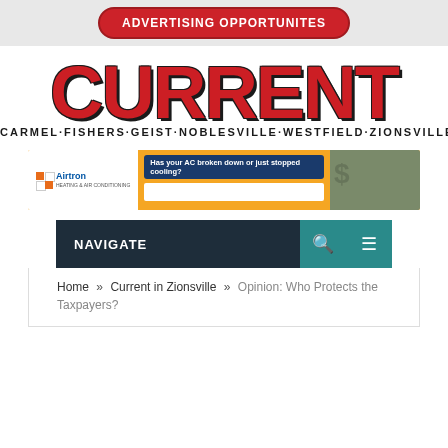[Figure (logo): Advertising Opportunities button in red pill shape]
CURRENT
CARMEL·FISHERS·GEIST·NOBLESVILLE·WESTFIELD·ZIONSVILLE
[Figure (infographic): Airtron Heating & Air Conditioning banner ad: Has your AC broken down or just stopped cooling?]
NAVIGATE
Home » Current in Zionsville » Opinion: Who Protects the Taxpayers?